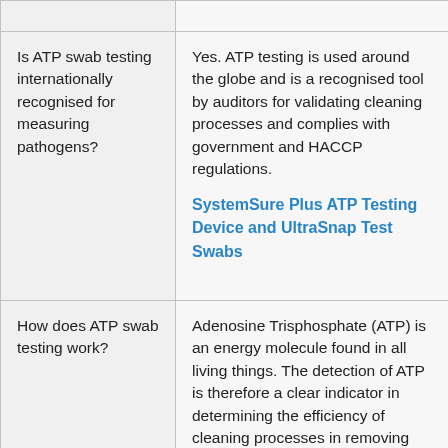|  |  |
| Is ATP swab testing internationally recognised for measuring pathogens? | Yes. ATP testing is used around the globe and is a recognised tool by auditors for validating cleaning processes and complies with government and HACCP regulations.

SystemSure Plus ATP Testing Device and UltraSnap Test Swabs |
| How does ATP swab testing work? | Adenosine Trisphosphate (ATP) is an energy molecule found in all living things. The detection of ATP is therefore a clear indicator in determining the efficiency of cleaning processes in removing... |